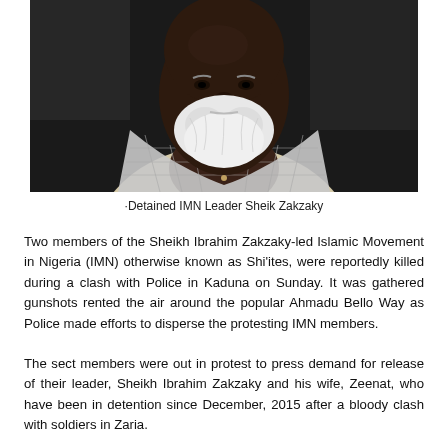[Figure (photo): Close-up photograph of an elderly dark-skinned man with a white beard, wearing a cream/white outfit and checkered headscarf, seated against a dark background with other people partially visible.]
·Detained IMN Leader Sheik Zakzaky
Two members of the Sheikh Ibrahim Zakzaky-led Islamic Movement in Nigeria (IMN) otherwise known as Shi'ites, were reportedly killed during a clash with Police in Kaduna on Sunday. It was gathered gunshots rented the air around the popular Ahmadu Bello Way as Police made efforts to disperse the protesting IMN members.
The sect members were out in protest to press demand for release of their leader, Sheikh Ibrahim Zakzaky and his wife, Zeenat, who have been in detention since December, 2015 after a bloody clash with soldiers in Zaria.